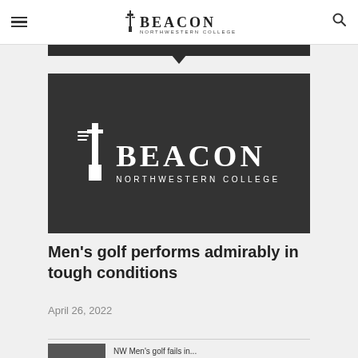BEACON NORTHWESTERN COLLEGE
[Figure (logo): Beacon Northwestern College logo — white lighthouse icon and bold BEACON text on dark background, with NORTHWESTERN COLLEGE underneath in spaced letters]
Men's golf performs admirably in tough conditions
April 26, 2022